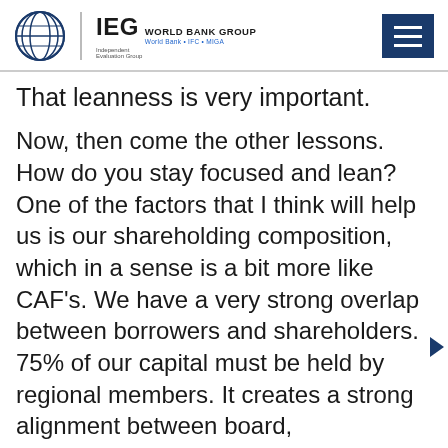IEG WORLD BANK GROUP World Bank • IFC • MIGA
That leanness is very important.
Now, then come the other lessons. How do you stay focused and lean? One of the factors that I think will help us is our shareholding composition, which in a sense is a bit more like CAF's. We have a very strong overlap between borrowers and shareholders. 75% of our capital must be held by regional members. It creates a strong alignment between board, shareholders, and borrowers. Then we need to be built on financial strength. We want to be a financially sustainable institution, where the borrowers pay